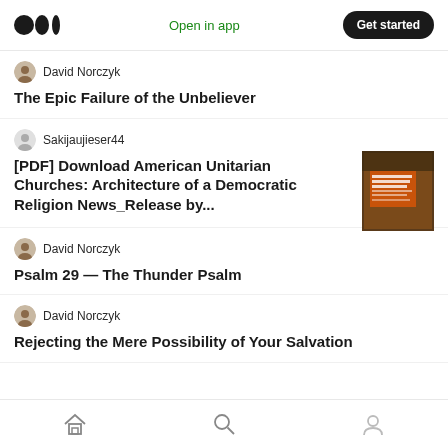Medium logo | Open in app | Get started
David Norczyk
The Epic Failure of the Unbeliever
Sakijaujieser44
[PDF] Download American Unitarian Churches: Architecture of a Democratic Religion News_Release by...
[Figure (photo): Book cover thumbnail for American Unitarian Churches]
David Norczyk
Psalm 29 — The Thunder Psalm
David Norczyk
Rejecting the Mere Possibility of Your Salvation